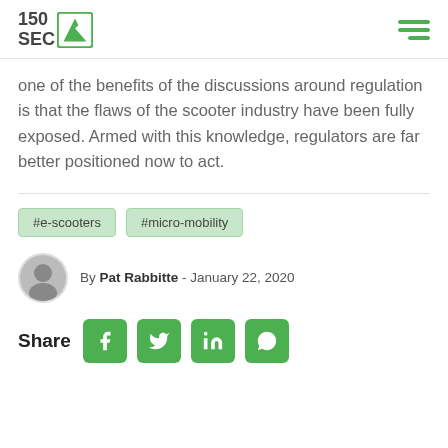150SEC
one of the benefits of the discussions around regulation is that the flaws of the scooter industry have been fully exposed. Armed with this knowledge, regulators are far better positioned now to act.
#e-scooters
#micro-mobility
By Pat Rabbitte - January 22, 2020
Share